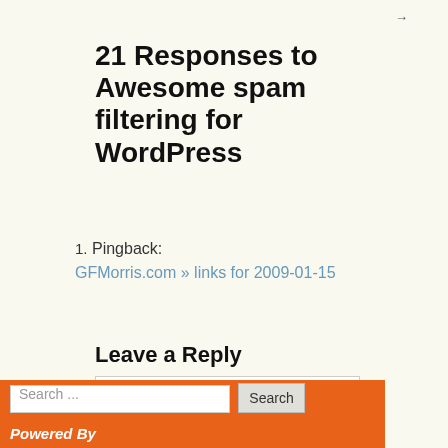→
21 Responses to Awesome spam filtering for WordPress
1. Pingback: GFMorris.com » links for 2009-01-15
Leave a Reply
Enter your comment here...
Search ...
Powered By